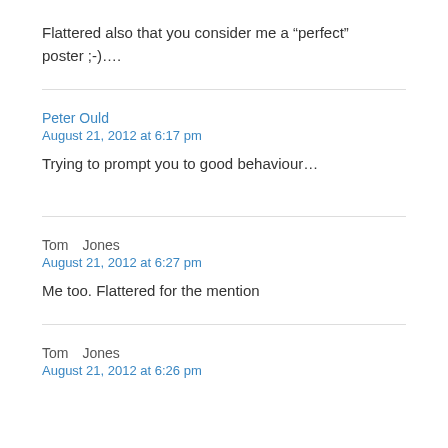Flattered also that you consider me a “perfect” poster ;-)....
Peter Ould
August 21, 2012 at 6:17 pm
Trying to prompt you to good behaviour…
Tom Jones
August 21, 2012 at 6:27 pm
Me too. Flattered for the mention
Tom Jones
August 21, 2012 at 6:26 pm